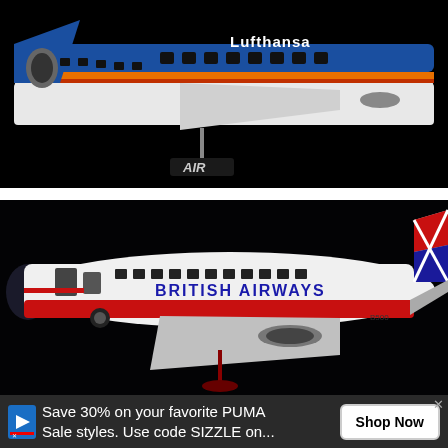[Figure (photo): Photo of a Lufthansa model airplane (blue, white, and orange livery) on a dark/black background, with 'AIR' text visible on a stand.]
[Figure (photo): Photo of a British Airways model airplane (white body with red and blue Union Jack livery) on a dark/black background.]
Save 30% on your favorite PUMA Sale styles. Use code SIZZLE on...
Shop Now